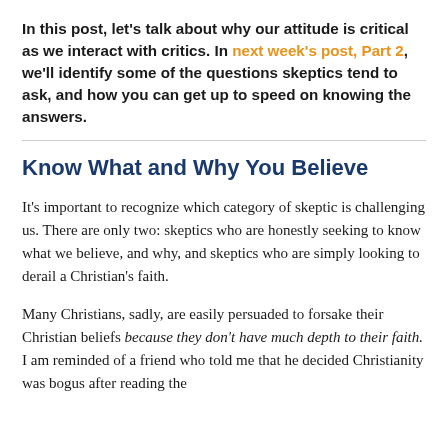In this post, let's talk about why our attitude is critical as we interact with critics. In next week's post, Part 2, we'll identify some of the questions skeptics tend to ask, and how you can get up to speed on knowing the answers.
Know What and Why You Believe
It's important to recognize which category of skeptic is challenging us. There are only two: skeptics who are honestly seeking to know what we believe, and why, and skeptics who are simply looking to derail a Christian's faith.
Many Christians, sadly, are easily persuaded to forsake their Christian beliefs because they don't have much depth to their faith. I am reminded of a friend who told me that he decided Christianity was bogus after reading the